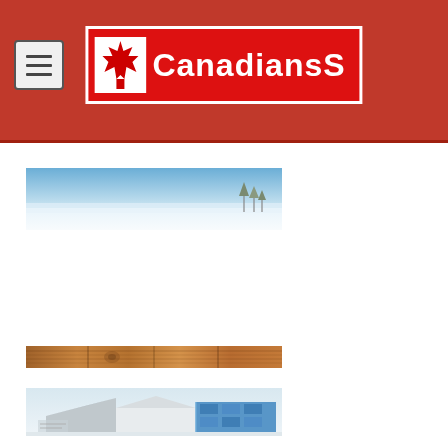CanadiansS
[Figure (photo): Panoramic winter landscape photo with blue sky and trees in snow]
[Figure (photo): Close-up photo of wooden planks or lumber texture]
[Figure (photo): Partial photo showing a modern building with glass panels and geometric shapes]